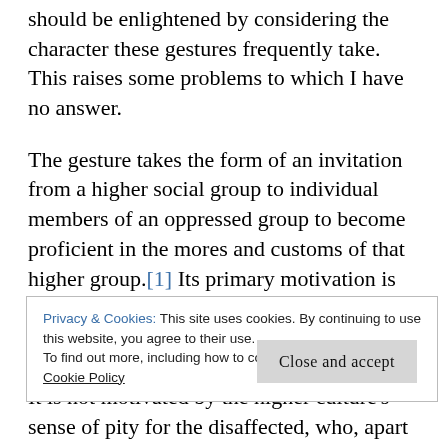should be enlightened by considering the character these gestures frequently take. This raises some problems to which I have no answer.
The gesture takes the form of an invitation from a higher social group to individual members of an oppressed group to become proficient in the mores and customs of that higher group.[1] Its primary motivation is the higher class' sense of its own wrongdoing and/or limitations – more straightforwardly expressed, its sense of sin. It is not motivated by the higher culture's sense of pity for the disaffected, who, apart from the
Privacy & Cookies: This site uses cookies. By continuing to use this website, you agree to their use.
To find out more, including how to control cookies, see here:
Cookie Policy

[Close and accept]